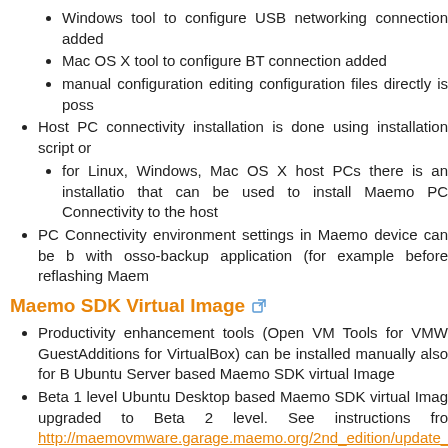Windows tool to configure USB networking connection added
Mac OS X tool to configure BT connection added
manual configuration editing configuration files directly is poss
Host PC connectivity installation is done using installation script or
for Linux, Windows, Mac OS X host PCs there is an installatio that can be used to install Maemo PC Connectivity to the host
PC Connectivity environment settings in Maemo device can be with osso-backup application (for example before reflashing Maem
Maemo SDK Virtual Image
Productivity enhancement tools (Open VM Tools for VMW GuestAdditions for VirtualBox) can be installed manually also for B Ubuntu Server based Maemo SDK virtual Image
Beta 1 level Ubuntu Desktop based Maemo SDK virtual Imag upgraded to Beta 2 level. See instructions fro http://maemovmware.garage.maemo.org/2nd_edition/update_mae
Integration testing
General product stability issues verified after refactorization of Mi and PluThon was done
General product stability issues verified after support for En